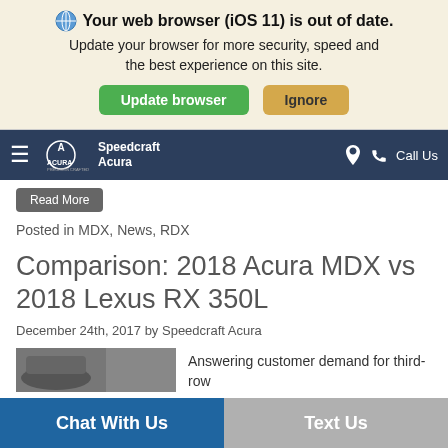Your web browser (iOS 11) is out of date. Update your browser for more security, speed and the best experience on this site.
Update browser | Ignore
Speedcraft Acura — Call Us
Read More
Posted in MDX, News, RDX
Comparison: 2018 Acura MDX vs 2018 Lexus RX 350L
December 24th, 2017 by Speedcraft Acura
[Figure (photo): Partial car interior/exterior image thumbnail]
Answering customer demand for third-row
Chat With Us
Text Us
Search | Saved | Share | Contact